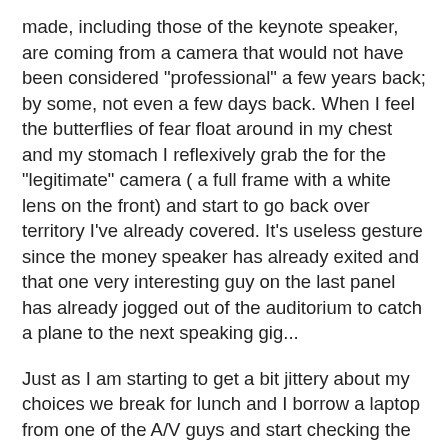made, including those of the keynote speaker, are coming from a camera that would not have been considered "professional" a few years back; by some, not even a few days back. When I feel the butterflies of fear float around in my chest and my stomach I reflexively grab the for the "legitimate" camera ( a full frame with a white lens on the front) and start to go back over territory I've already covered. It's useless gesture since the money speaker has already exited and that one very interesting guy on the last panel has already jogged out of the auditorium to catch a plane to the next speaking gig...
Just as I am starting to get a bit jittery about my choices we break for lunch and I borrow a laptop from one of the A/V guys and start checking the files from my "bridge" camera. I toss a few samples into Photoshop and look at the 15 inch Retina screen. My fears fade away as I use the magnification tool to dig in all the way to 100%. Granted, the files from the one inch sensor will never match the ones from the full frame sensors but I can see that as long as I stay under 1000 ISO these files are competitive and the magic bean of the long focal lengths builds a compromise math